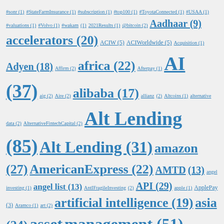#sonr (1) #StateFarmInsurance (1) #subscription (1) #top100 (1) #ToyotaConnected (1) #USAA (1) #valuations (1) #Volvo (1) #wakam (1) 2021Results (1) @bitcoin (2) Aadhaar (9) accelerators (20) ACIW (5) ACIWorldwide (5) Acquisition (1) Adyen (18) Affirm (2) africa (22) Afterpay (1) AI (37) aig (2) Aire (2) alibaba (17) allianz (2) Altcoins (1) alternative data (2) AlternativeFintechCapital (2) Alt Lending (85) Alt Lending (31) amazon (27) AmericanExpress (22) AMTD (13) angel investing (1) angel list (13) AntIFragileInvesting (2) API (29) apple (1) ApplePay (3) Aramco (1) art (2) artificial intelligence (19) asia (24) asset management (51) assurance (1) Assurant (1) audit (2) auditchain (3) Australia (10) austrian economics (2) AutoInsurance (7) aviva (1) AXP (22) b2b media (4) back office (10) banking (9) Bank of England (3)